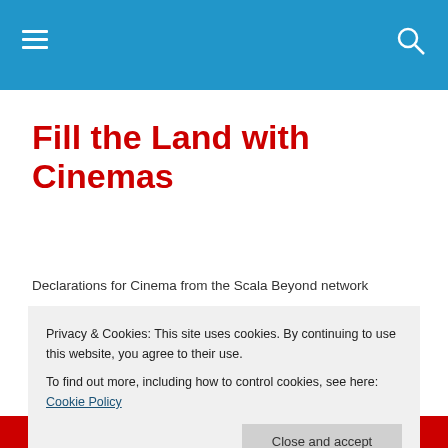Fill the Land with Cinemas
Declarations for Cinema from the Scala Beyond network
[Figure (illustration): Partial view of a film reel graphic in red and black, partially visible at the bottom of the page]
Privacy & Cookies: This site uses cookies. By continuing to use this website, you agree to their use.
To find out more, including how to control cookies, see here: Cookie Policy
Close and accept